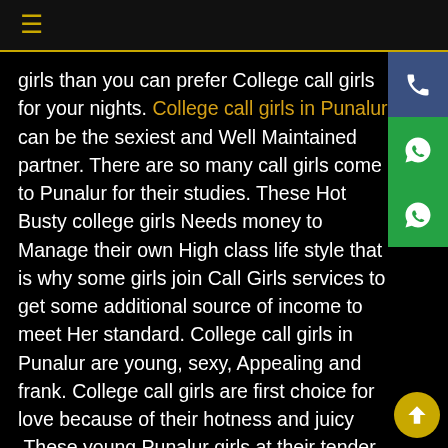≡
girls than you can prefer College call girls for your nights. College call girls in Punalur can be the sexiest and Well Maintained partner. There are so many call girls come to Punalur for their studies. These Hot Busty college girls Needs money to Manage their own High class life style that is why some girls join Call Girls services to get some additional source of income to meet Her standard. College call girls in Punalur are young, sexy, Appealing and frank. College call girls are first choice for love because of their hotness and juicy .These young Punalur girls at their tender age give physical satisfaction that give you memorable feeling and sexual relief. Student call girls tend to be quite loveable wild and entertaining. Do you remember your student's life and that